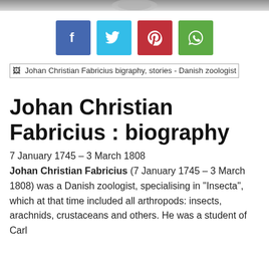[Figure (other): Top decorative bar with partially visible logo/seal graphic in grey tones]
[Figure (infographic): Row of four social media share buttons: Facebook (blue), Twitter (cyan), Pinterest (red), WhatsApp (green)]
[Figure (other): Broken image placeholder with alt text: Johan Christian Fabricius bigraphy, stories - Danish zoologist]
Johan Christian Fabricius : biography
7 January 1745 – 3 March 1808
Johan Christian Fabricius (7 January 1745 – 3 March 1808) was a Danish zoologist, specialising in "Insecta", which at that time included all arthropods: insects, arachnids, crustaceans and others. He was a student of Carl